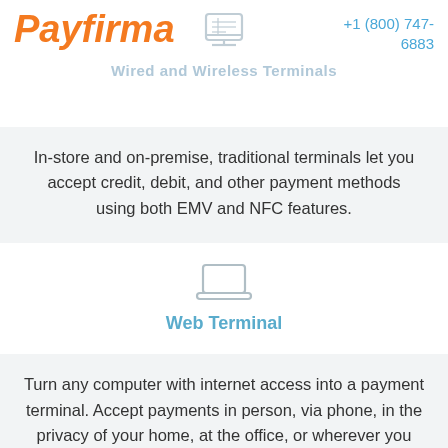[Figure (logo): Payfirma logo in orange italic bold text]
+1 (800) 747-6883
[Figure (illustration): Terminal/monitor icon outline in light gray]
Wired and Wireless Terminals
In-store and on-premise, traditional terminals let you accept credit, debit, and other payment methods using both EMV and NFC features.
[Figure (illustration): Laptop/computer icon outline in light gray]
Web Terminal
Turn any computer with internet access into a payment terminal. Accept payments in person, via phone, in the privacy of your home, at the office, or wherever you are.